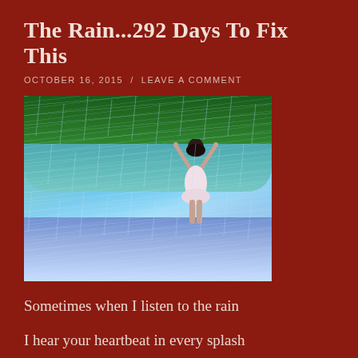The Rain...292 Days To Fix This
OCTOBER 16, 2015  /  LEAVE A COMMENT
[Figure (photo): A girl in a white dress standing in heavy rain with arms raised upward, seen from behind, with green trees and rain splashing all around her.]
Sometimes when I listen to the rain
I hear your heartbeat in every splash